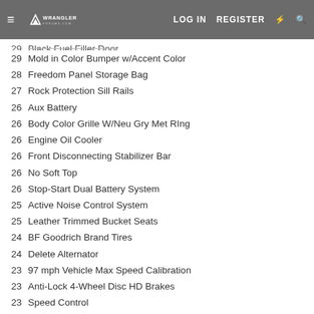Wrangler Forums — LOG IN  REGISTER
29 Black Fuel Filler Door
29 Mold in Color Bumper w/Accent Color
28 Freedom Panel Storage Bag
27 Rock Protection Sill Rails
26 Aux Battery
26 Body Color Grille W/Neu Gry Met RIng
26 Engine Oil Cooler
26 Front Disconnecting Stabilizer Bar
26 No Soft Top
26 Stop-Start Dual Battery System
25 Active Noise Control System
25 Leather Trimmed Bucket Seats
24 BF Goodrich Brand Tires
24 Delete Alternator
23 97 mph Vehicle Max Speed Calibration
23 Anti-Lock 4-Wheel Disc HD Brakes
23 Speed Control
22 Conv Diff Frt Axle w/Disconnect
22 MIC Rubicon Highline Flare
21 Command-Trac Part Time 4WD System